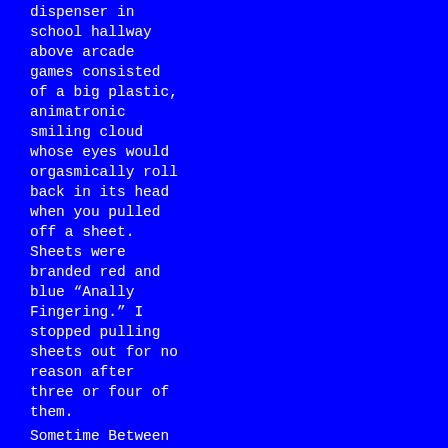dispenser in school hallway above arcade games consisted of a big plastic, animatronic smiling cloud whose eyes would orgasmically roll back in its head when you pulled off a sheet. Sheets were branded red and blue “Anally Fingering.” I stopped pulling sheets out for no reason after three or four of them.
Sometime Between